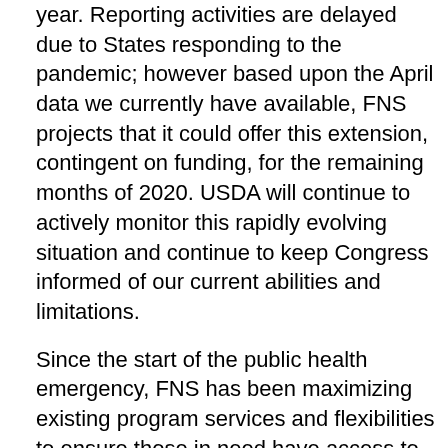year. Reporting activities are delayed due to States responding to the pandemic; however based upon the April data we currently have available, FNS projects that it could offer this extension, contingent on funding, for the remaining months of 2020. USDA will continue to actively monitor this rapidly evolving situation and continue to keep Congress informed of our current abilities and limitations.
Since the start of the public health emergency, FNS has been maximizing existing program services and flexibilities to ensure those in need have access to food through our 15 federal nutrition assistance programs. To date, USDA has provided more than 3,000 flexibilities across these programs. USDA has also leveraged new and innovative approaches to feeding kids, including a public-private partnership that provided nearly 40 million meals directly to the doorsteps of low-income rural children. For more information on FNS' response to COVID-19, visit